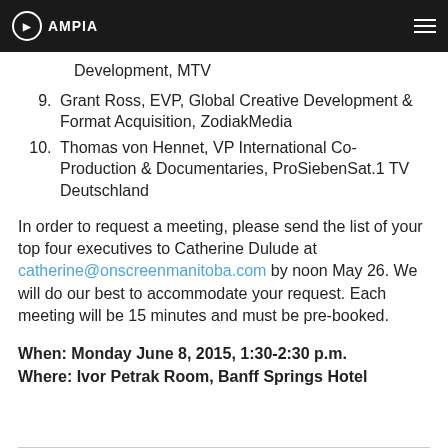AMPIA
Development, MTV
9. Grant Ross, EVP, Global Creative Development & Format Acquisition, ZodiakMedia
10. Thomas von Hennet, VP International Co-Production & Documentaries, ProSiebenSat.1 TV Deutschland
In order to request a meeting, please send the list of your top four executives to Catherine Dulude at catherine@onscreenmanitoba.com by noon May 26. We will do our best to accommodate your request. Each meeting will be 15 minutes and must be pre-booked.
When: Monday June 8, 2015, 1:30-2:30 p.m.
Where: Ivor Petrak Room, Banff Springs Hotel